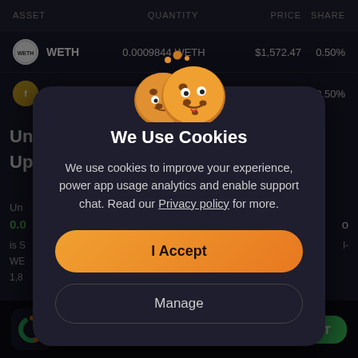| ASSET | QUANTITY | PRICE | SHARE |
| --- | --- | --- | --- |
| WETH | 0.0009844 WETH | $1,572.47 | 0.50% |
| EcoFi |  | $0.0009560 | 0.50% |
Un
Up
Un
0.0...
is S...
WE...
1,8...
[Figure (screenshot): Cookie consent modal dialog with cookie emoji graphic, title 'We Use Cookies', body text about cookies, 'I Accept' orange button, and 'Manage' dark button, over a dark crypto app background]
(935K)
GET